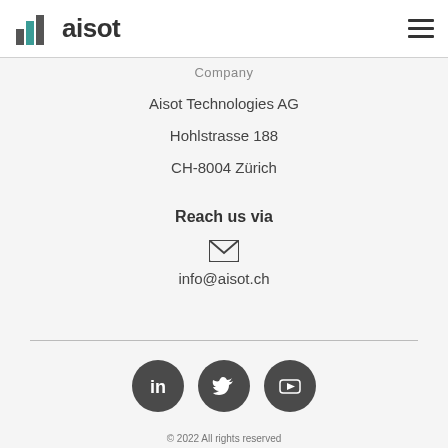[Figure (logo): Aisot Technologies logo with bar chart icon and text 'aisot']
Company
Aisot Technologies AG
Hohlstrasse 188
CH-8004 Zürich
Reach us via
[Figure (other): Email envelope icon]
info@aisot.ch
[Figure (other): Social media icons: LinkedIn, Twitter, YouTube]
© 2022 All rights reserved